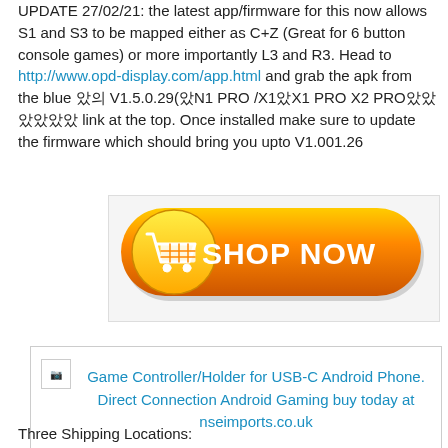UPDATE 27/02/21: the latest app/firmware for this now allows S1 and S3 to be mapped either as C+Z (Great for 6 button console games) or more importantly L3 and R3. Head to http://www.opd-display.com/app.html and grab the apk from the blue 앱의 V1.5.0.29(앱N1 PRO /X1앱X1 PRO X2 PRO앱앱앱앱앱앱 link at the top. Once installed make sure to update the firmware which should bring you upto V1.001.26
[Figure (other): Orange 'Shop Now' button with shopping cart icon on a light grey background panel]
[Figure (other): Ad box: broken image icon and text 'Game Controller/Holder for USB-C Android Phone. Direct Connection Android Gaming buy today at nseimports.co.uk']
Three Shipping Locations: